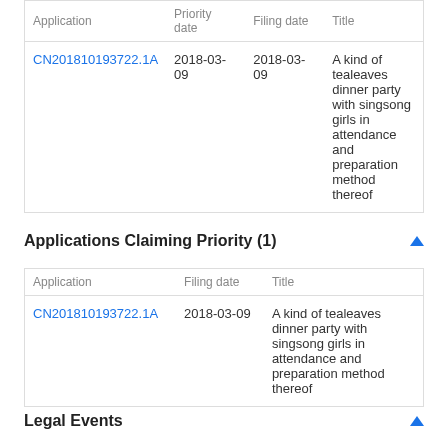| Application | Priority date | Filing date | Title |
| --- | --- | --- | --- |
| CN201810193722.1A | 2018-03-09 | 2018-03-09 | A kind of tealeaves dinner party with singsong girls in attendance and preparation method thereof |
Applications Claiming Priority (1)
| Application | Filing date | Title |
| --- | --- | --- |
| CN201810193722.1A | 2018-03-09 | A kind of tealeaves dinner party with singsong girls in attendance and preparation method thereof |
Legal Events